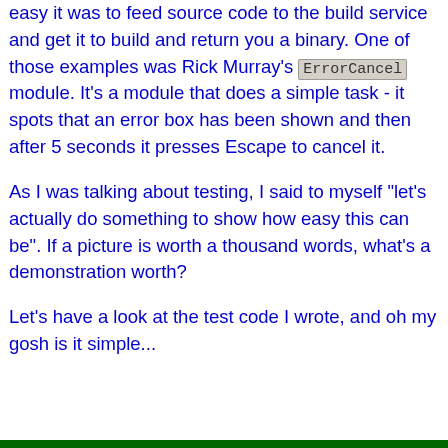easy it was to feed source code to the build service and get it to build and return you a binary. One of those examples was Rick Murray's ErrorCancel module. It's a module that does a simple task - it spots that an error box has been shown and then after 5 seconds it presses Escape to cancel it.
As I was talking about testing, I said to myself "let's actually do something to show how easy this can be". If a picture is worth a thousand words, what's a demonstration worth?
Let's have a look at the test code I wrote, and oh my gosh is it simple...